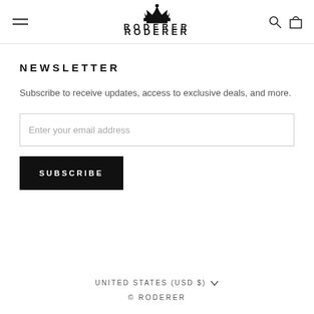RODERER
NEWSLETTER
Subscribe to receive updates, access to exclusive deals, and more.
Enter your email address
SUBSCRIBE
UNITED STATES (USD $)
© RODERER